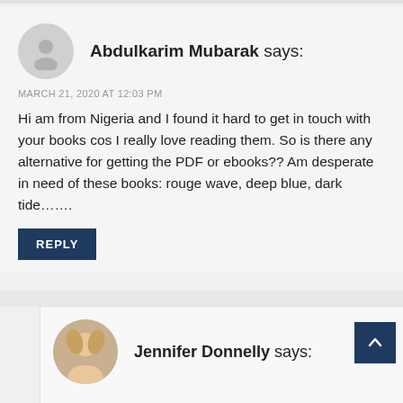Abdulkarim Mubarak says:
MARCH 21, 2020 AT 12:03 PM
Hi am from Nigeria and I found it hard to get in touch with your books cos I really love reading them. So is there any alternative for getting the PDF or ebooks?? Am desperate in need of these books: rouge wave, deep blue, dark tide…….
REPLY
Jennifer Donnelly says: